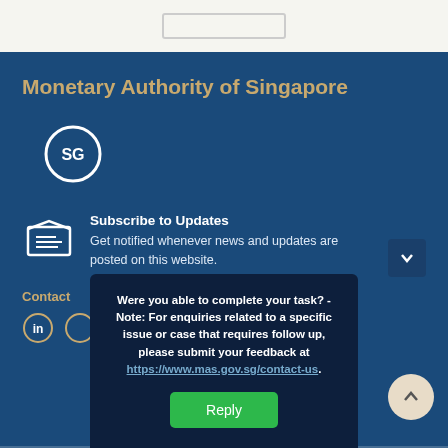Monetary Authority of Singapore
[Figure (logo): Singapore SG circular logo in white on dark blue background]
Subscribe to Updates
Get notified whenever news and updates are posted on this website.
Contact
[Figure (infographic): LinkedIn and other social media icons]
Were you able to complete your task? - Note: For enquiries related to a specific issue or case that requires follow up, please submit your feedback at https://www.mas.gov.sg/contact-us.